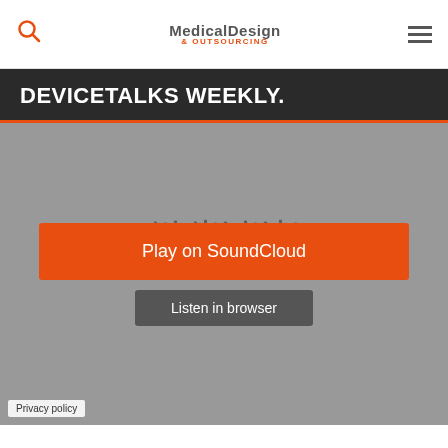Medical Design & Outsourcing
DEVICETALKS WEEKLY.
[Figure (screenshot): SoundCloud embedded player with gray background, orange 'Play on SoundCloud' button, and 'Listen in browser' button. Shows SoundCloud logo with waveform icon. Privacy policy link in bottom left corner.]